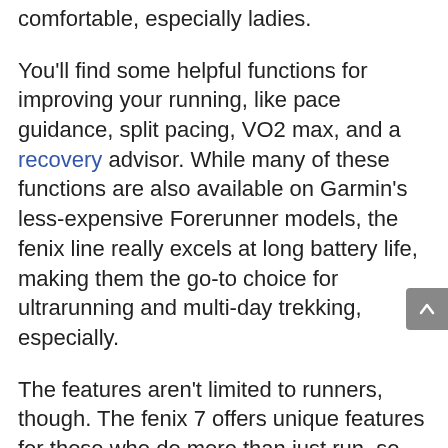comfortable, especially ladies.
You'll find some helpful functions for improving your running, like pace guidance, split pacing, VO2 max, and a recovery advisor. While many of these functions are also available on Garmin's less-expensive Forerunner models, the fenix line really excels at long battery life, making them the go-to choice for ultrarunning and multi-day trekking, especially.
The features aren't limited to runners, though. The fenix 7 offers unique features for those who do more than just run, so we'd recommend it for those who enjoy running off the beaten track, skiing, golfing, and rock climbing.